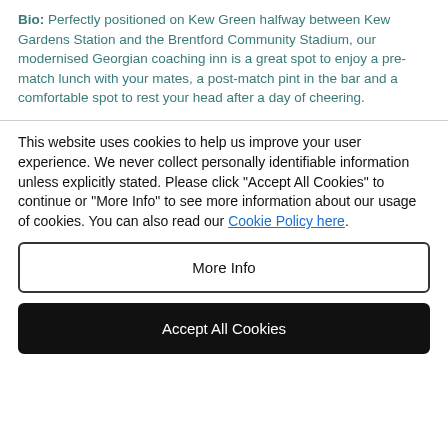Bio: Perfectly positioned on Kew Green halfway between Kew Gardens Station and the Brentford Community Stadium, our modernised Georgian coaching inn is a great spot to enjoy a pre-match lunch with your mates, a post-match pint in the bar and a comfortable spot to rest your head after a day of cheering.
This website uses cookies to help us improve your user experience. We never collect personally identifiable information unless explicitly stated. Please click "Accept All Cookies" to continue or "More Info" to see more information about our usage of cookies. You can also read our Cookie Policy here.
More Info
Accept All Cookies